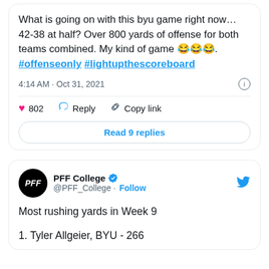What is going on with this byu game right now… 42-38 at half?  Over 800 yards of offense for both teams combined.   My kind of game 😂😂😂.  #offenseonly #lightupthescoreboard
4:14 AM · Oct 31, 2021
802  Reply  Copy link
Read 9 replies
PFF College @PFF_College · Follow
Most rushing yards in Week 9

1. Tyler Allgeier, BYU - 266